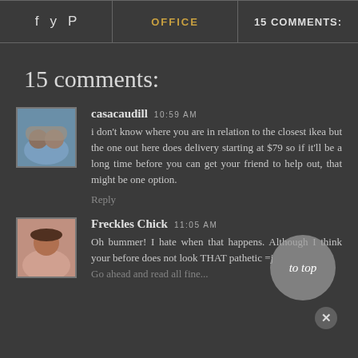f  Twitter  Pinterest  |  OFFICE  |  15 COMMENTS:
15 comments:
casacaudill 10:59 AM
i don't know where you are in relation to the closest ikea but the one out here does delivery starting at $79 so if it'll be a long time before you can get your friend to help out, that might be one option.
Reply
Freckles Chick 11:05 AM
Oh bummer! I hate when that happens. Although I think your before does not look THAT pathetic =j